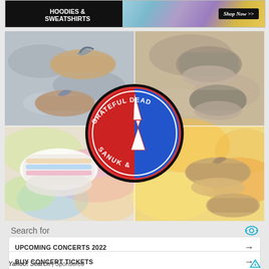[Figure (illustration): Advertisement banner for hoodies and sweatshirts with tie-dye background and Shop Now button]
[Figure (photo): Collage of Sanuk x Grateful Dead shoe products including flip flops and slip-on shoes with tie-dye patterns, featuring the Sanuk & Grateful Dead circular logo in the center]
Search for
UPCOMING CONCERTS 2022
BUY CONCERT TICKETS
Yahoo! Search | Sponsored